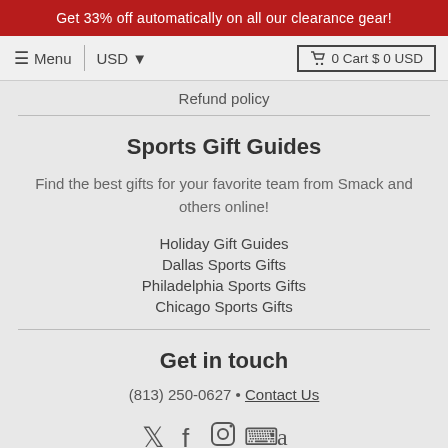Get 33% off automatically on all our clearance gear!
Menu | USD ▾ | 🛒 0 Cart $ 0 USD
Refund policy
Sports Gift Guides
Find the best gifts for your favorite team from Smack and others online!
Holiday Gift Guides
Dallas Sports Gifts
Philadelphia Sports Gifts
Chicago Sports Gifts
Get in touch
(813) 250-0627 · Contact Us